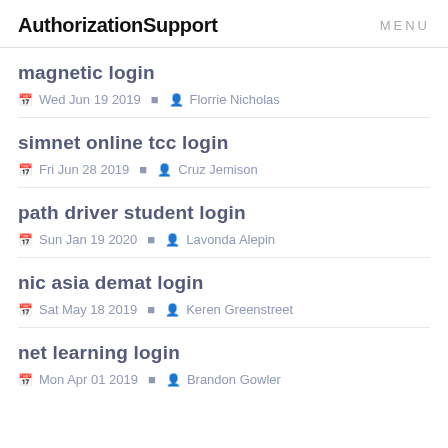AuthorizationSupport  MENU
magnetic login
Wed Jun 19 2019  Florrie Nicholas
simnet online tcc login
Fri Jun 28 2019  Cruz Jemison
path driver student login
Sun Jan 19 2020  Lavonda Alepin
nic asia demat login
Sat May 18 2019  Keren Greenstreet
net learning login
Mon Apr 01 2019  Brandon Gowler